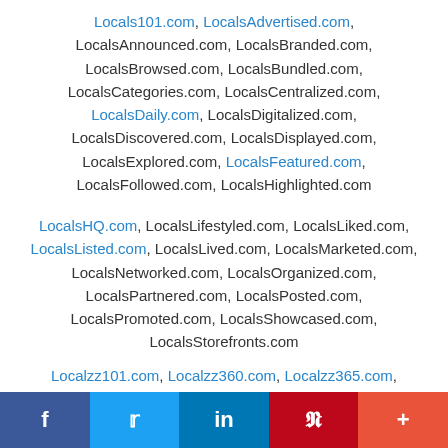Locals101.com, LocalsAdvertised.com, LocalsAnnounced.com, LocalsBranded.com, LocalsBrowsed.com, LocalsBundled.com, LocalsCategories.com, LocalsCentralized.com, LocalsDaily.com, LocalsDigitalized.com, LocalsDiscovered.com, LocalsDisplayed.com, LocalsExplored.com, LocalsFeatured.com, LocalsFollowed.com, LocalsHighlighted.com
LocalsHQ.com, LocalsLifestyled.com, LocalsLiked.com, LocalsListed.com, LocalsLived.com, LocalsMarketed.com, LocalsNetworked.com, LocalsOrganized.com, LocalsPartnered.com, LocalsPosted.com, LocalsPromoted.com, LocalsShowcased.com, LocalsStorefronts.com
Localzz101.com, Localzz360.com, Localzz365.com,